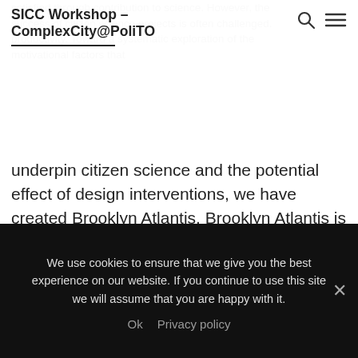SICC Workshop – ComplexCity@PoliTO
satisfied through contribution to science. However, the success of citizen science projects is often challenged. productivity. Toward a systematic exploration of the motivational factors that underpin citizen science and the potential effect of design interventions, we have created Brooklyn Atlantis. Brooklyn Atlantis is a citizen science project for monitoring an environmental health of a highly polluted canal located in an urban area of New York City. The project involves an aquatic monitoring robot that takes pictures during navigation through the canal and an online interface for citizen scientists to analyze
We use cookies to ensure that we give you the best experience on our website. If you continue to use this site we will assume that you are happy with it. Ok Privacy policy